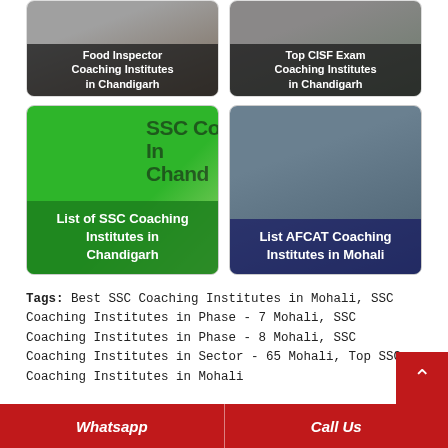[Figure (photo): Food Inspector Coaching Institutes in Chandigarh - card thumbnail]
[Figure (photo): Top CISF Exam Coaching Institutes in Chandigarh - card thumbnail]
[Figure (photo): List of SSC Coaching Institutes in Chandigarh - green SSC card]
[Figure (photo): List AFCAT Coaching Institutes in Mohali - pilot photo card]
Tags: Best SSC Coaching Institutes in Mohali, SSC Coaching Institutes in Phase - 7 Mohali, SSC Coaching Institutes in Phase - 8 Mohali, SSC Coaching Institutes in Sector - 65 Mohali, Top SSC Coaching Institutes in Mohali
Previous
Whatsapp   Call Us